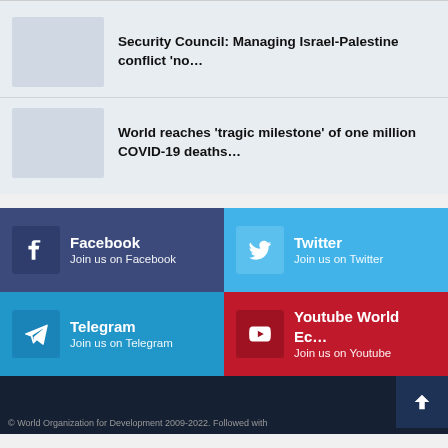[Figure (photo): Thumbnail image placeholder for Security Council article]
Security Council: Managing Israel-Palestine conflict 'no…'
[Figure (photo): Thumbnail image placeholder for COVID-19 deaths article]
World reaches 'tragic milestone' of one million COVID-19 deaths…
Facebook
Join us on Facebook
Twitter
Join us on Twitter
Telegram
Join us on Telegram
Youtube World Ec…
Join us on Youtube
© World Organization for Development 2009-2022. Followed with